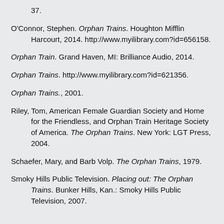37.
O'Connor, Stephen. Orphan Trains. Houghton Mifflin Harcourt, 2014. http://www.myilibrary.com?id=656158.
Orphan Train. Grand Haven, MI: Brilliance Audio, 2014.
Orphan Trains. http://www.myilibrary.com?id=621356.
Orphan Trains., 2001.
Riley, Tom, American Female Guardian Society and Home for the Friendless, and Orphan Train Heritage Society of America. The Orphan Trains. New York: LGT Press, 2004.
Schaefer, Mary, and Barb Volp. The Orphan Trains, 1979.
Smoky Hills Public Television. Placing out: The Orphan Trains. Bunker Hills, Kan.: Smoky Hills Public Television, 2007.